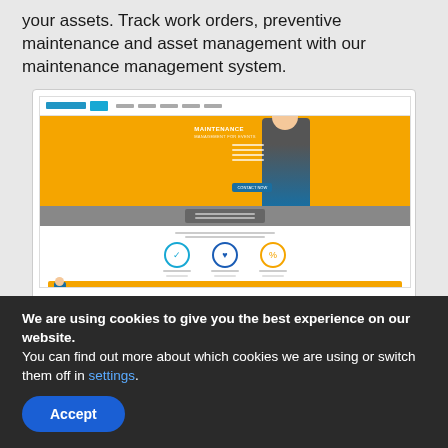your assets. Track work orders, preventive maintenance and asset management with our maintenance management system.
[Figure (screenshot): Screenshot of the Maintenancecare website showing an orange hero banner with a maintenance worker, feature icons, and a free download banner.]
MAINTENANCECARE
MPSOFTWARECMMS
We are using cookies to give you the best experience on our website.
You can find out more about which cookies we are using or switch them off in settings.
Accept